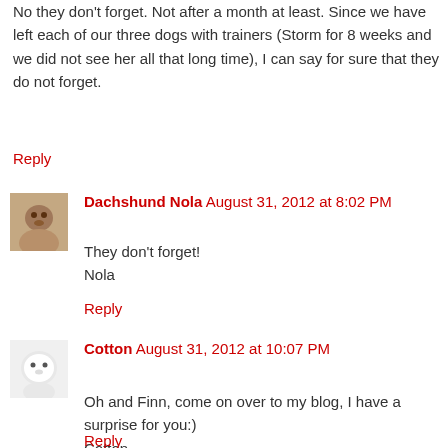No they don't forget. Not after a month at least. Since we have left each of our three dogs with trainers (Storm for 8 weeks and we did not see her all that long time), I can say for sure that they do not forget.
Reply
Dachshund Nola  August 31, 2012 at 8:02 PM
They don't forget!
Nola
Reply
Cotton  August 31, 2012 at 10:07 PM
Oh and Finn, come on over to my blog, I have a surprise for you:)
Cotton
Reply